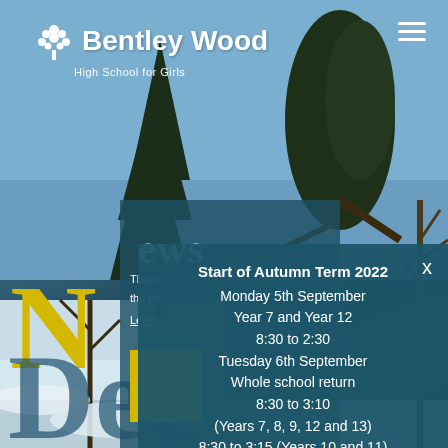[Figure (photo): Outdoor winter scene with snow-covered ground, large trees including an evergreen/cedar, and blue sky background serving as website hero image for Bentley Wood High School for Girls]
Bentley Wood High School for Girls
Start of Autumn Term 2022
Monday 5th September
Year 7 and Year 12
8:30 to 2:30
Tuesday 6th September
Whole school return
8:30 to 3:10
(Years 7, 8, 9, 12 and 13)
8:30 to 3:15 (Years 10 and 11)